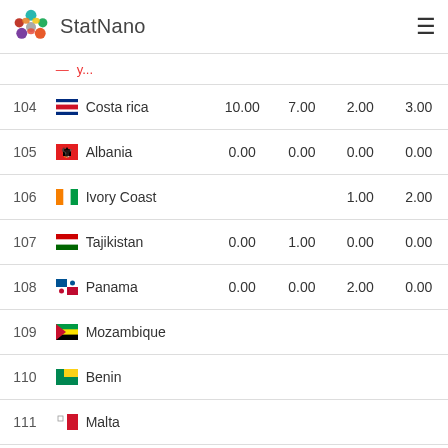StatNano
| # | Country |  |  |  |  |
| --- | --- | --- | --- | --- | --- |
| 104 | Costa rica | 10.00 | 7.00 | 2.00 | 3.00 |
| 105 | Albania | 0.00 | 0.00 | 0.00 | 0.00 |
| 106 | Ivory Coast |  |  | 1.00 | 2.00 |
| 107 | Tajikistan | 0.00 | 1.00 | 0.00 | 0.00 |
| 108 | Panama | 0.00 | 0.00 | 2.00 | 0.00 |
| 109 | Mozambique |  |  |  |  |
| 110 | Benin |  |  |  |  |
| 111 | Malta |  |  |  |  |
| 112 | Uganda |  | 1.00 |  | 1.00 |